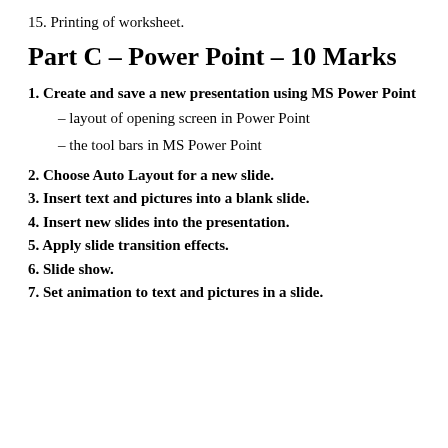15. Printing of worksheet.
Part C – Power Point – 10 Marks
1. Create and save a new presentation using MS Power Point
– layout of opening screen in Power Point
– the tool bars in MS Power Point
2. Choose Auto Layout for a new slide.
3. Insert text and pictures into a blank slide.
4. Insert new slides into the presentation.
5. Apply slide transition effects.
6. Slide show.
7. Set animation to text and pictures in a slide.